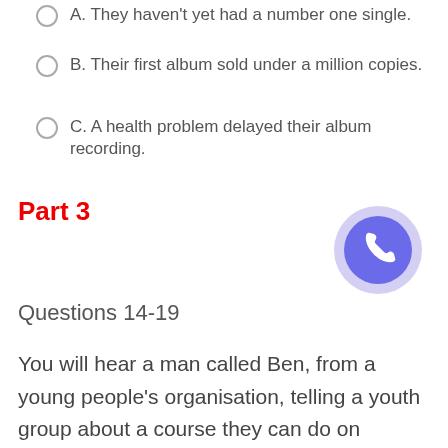A. They haven't yet had a number one single.
B. Their first album sold under a million copies.
C. A health problem delayed their album recording.
Part 3
Questions 14-19
You will hear a man called Ben, from a young people's organisation, telling a youth group about a course they can do on Saturdays. For each question, fill in the missing information in the numbered space.
[Figure (illustration): Blue circular phone/call button icon with white telephone handset symbol]